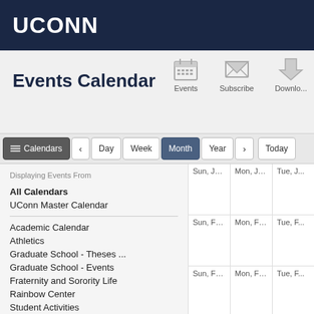UCONN
Events Calendar
Events  Subscribe  Download
Calendars  Day  Week  Month  Year  Today
Displaying Events From
All Calendars
UConn Master Calendar
Academic Calendar
Athletics
Graduate School - Theses ...
Graduate School - Events
Fraternity and Sorority Life
Rainbow Center
Student Activities
Student Organizations Ma...
SUBOG - Student Union B...
| Sun | Mon | Tue |
| --- | --- | --- |
| Sun, Jan 26 2020 | Mon, Jan 27 2020 | Tue, J... |
| Sun, Feb 2 2020 | Mon, Feb 3 2020 | Tue, F... |
| Sun, Feb 9 2020 | Mon, Feb 10 2020 | Tue, F... |